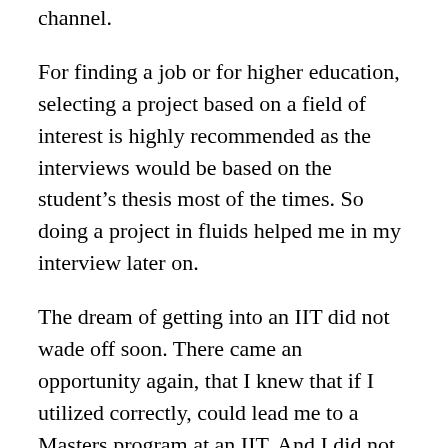channel.
For finding a job or for higher education, selecting a project based on a field of interest is highly recommended as the interviews would be based on the student's thesis most of the times. So doing a project in fluids helped me in my interview later on.
The dream of getting into an IIT did not wade off soon. There came an opportunity again, that I knew that if I utilized correctly, could lead me to a Masters program at an IIT. And I did not give up yet. So this time, I secured a good rank in the graduate entrance exam and was offered admission for Masters by Research at IIT